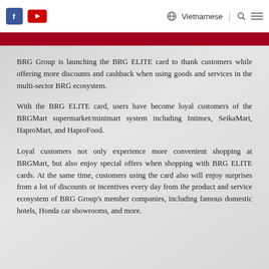f [YouTube] Vietnamese | [search] [menu]
BRG Group is launching the BRG ELITE card to thank customers while offering more discounts and cashback when using goods and services in the multi-sector BRG ecosystem.
With the BRG ELITE card, users have become loyal customers of the BRGMart supermarket/minimart system including Intimex, SeikaMart, HaproMart, and HaproFood.
Loyal customers not only experience more convenient shopping at BRGMart, but also enjoy special offers when shopping with BRG ELITE cards. At the same time, customers using the card also will enjoy surprises from a lot of discounts or incentives every day from the product and service ecosystem of BRG Group's member companies, including famous domestic hotels, Honda car showrooms, and more.